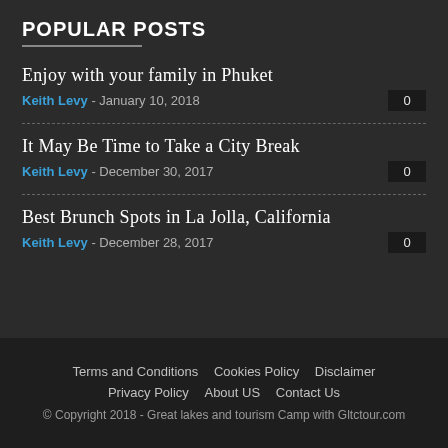POPULAR POSTS
Enjoy with your family in Phuket | Keith Levy - January 10, 2018 | 0
It May Be Time to Take a City Break | Keith Levy - December 30, 2017 | 0
Best Brunch Spots in La Jolla, California | Keith Levy - December 28, 2017 | 0
Terms and Conditions  Cookies Policy  Disclaimer  Privacy Policy  About US  Contact Us  © Copyright 2018 - Great lakes and tourism Camp with Gltctour.com